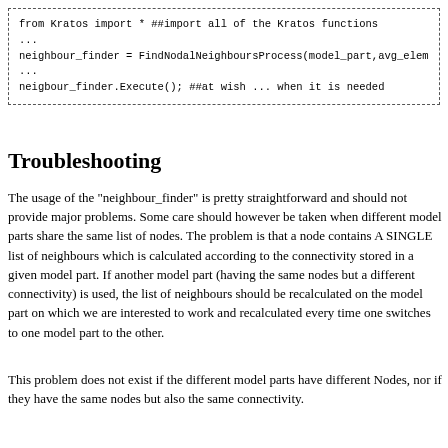[Figure (screenshot): Code block with dashed border showing Python code using Kratos library for finding nodal neighbours]
Troubleshooting
The usage of the "neighbour_finder" is pretty straightforward and should not provide major problems. Some care should however be taken when different model parts share the same list of nodes. The problem is that a node contains A SINGLE list of neighbours which is calculated according to the connectivity stored in a given model part. If another model part (having the same nodes but a different connectivity) is used, the list of neighbours should be recalculated on the model part on which we are interested to work and recalculated every time one switches to one model part to the other.
This problem does not exist if the different model parts have different Nodes, nor if they have the same nodes but also the same connectivity.